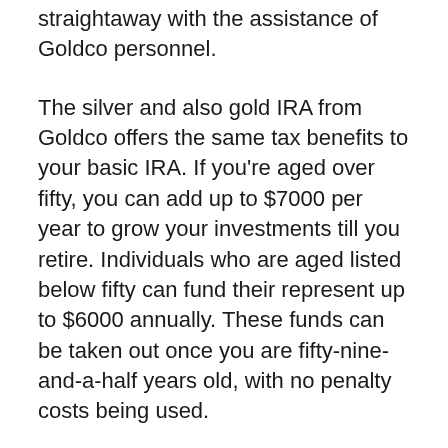straightaway with the assistance of Goldco personnel.
The silver and also gold IRA from Goldco offers the same tax benefits to your basic IRA. If you're aged over fifty, you can add up to $7000 per year to grow your investments till you retire. Individuals who are aged listed below fifty can fund their represent up to $6000 annually. These funds can be taken out once you are fifty-nine-and-a-half years old, with no penalty costs being used.
To arrange your rare-earth element self directed individual retirement account, go to the official web site for Goldco as well as request their complimentary guide concerning self-directed IRAs. This overview…